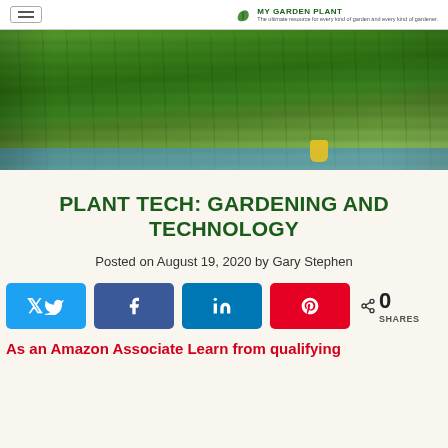MY GARDEN PLANT — The ultimate resource for every kind of garden and every kind of gardener.
[Figure (photo): Aerial view of long rows of leafy green plants growing in blue-lined hydroponic or raised garden beds at a farm or greenhouse.]
PLANT TECH: GARDENING AND TECHNOLOGY
Posted on August 19, 2020 by Gary Stephen
[Figure (infographic): Social share buttons: Twitter (blue), Facebook (dark blue), LinkedIn (blue), Pinterest (red), and a share count showing 0 SHARES.]
As an Amazon Associate Learn from qualifying